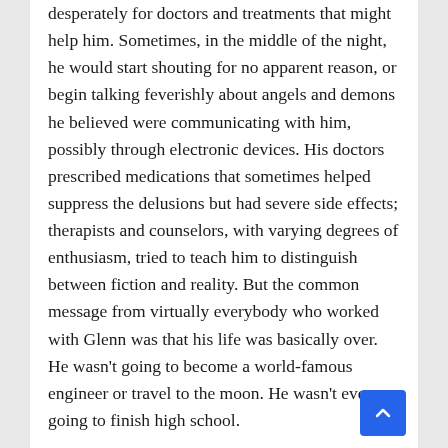desperately for doctors and treatments that might help him. Sometimes, in the middle of the night, he would start shouting for no apparent reason, or begin talking feverishly about angels and demons he believed were communicating with him, possibly through electronic devices. His doctors prescribed medications that sometimes helped suppress the delusions but had severe side effects; therapists and counselors, with varying degrees of enthusiasm, tried to teach him to distinguish between fiction and reality. But the common message from virtually everybody who worked with Glenn was that his life was basically over. He wasn't going to become a world-famous engineer or travel to the moon. He wasn't even going to finish high school.